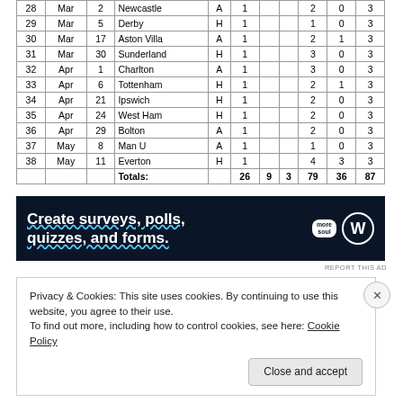| # | Month | Day | Opponent | H/A | Col6 | Col7 | Col8 | GF | GA | Pts |
| --- | --- | --- | --- | --- | --- | --- | --- | --- | --- | --- |
| 28 | Mar | 2 | Newcastle | A | 1 |  |  | 2 | 0 | 3 |
| 29 | Mar | 5 | Derby | H | 1 |  |  | 1 | 0 | 3 |
| 30 | Mar | 17 | Aston Villa | A | 1 |  |  | 2 | 1 | 3 |
| 31 | Mar | 30 | Sunderland | H | 1 |  |  | 3 | 0 | 3 |
| 32 | Apr | 1 | Charlton | A | 1 |  |  | 3 | 0 | 3 |
| 33 | Apr | 6 | Tottenham | H | 1 |  |  | 2 | 1 | 3 |
| 34 | Apr | 21 | Ipswich | H | 1 |  |  | 2 | 0 | 3 |
| 35 | Apr | 24 | West Ham | H | 1 |  |  | 2 | 0 | 3 |
| 36 | Apr | 29 | Bolton | A | 1 |  |  | 2 | 0 | 3 |
| 37 | May | 8 | Man U | A | 1 |  |  | 1 | 0 | 3 |
| 38 | May | 11 | Everton | H | 1 |  |  | 4 | 3 | 3 |
|  |  |  | Totals: |  | 26 | 9 | 3 | 79 | 36 | 87 |
[Figure (other): Advertisement banner: 'Create surveys, polls, quizzes, and forms.' with WordPress logo and 'more soul' badge on dark navy background.]
Privacy & Cookies: This site uses cookies. By continuing to use this website, you agree to their use.
To find out more, including how to control cookies, see here: Cookie Policy